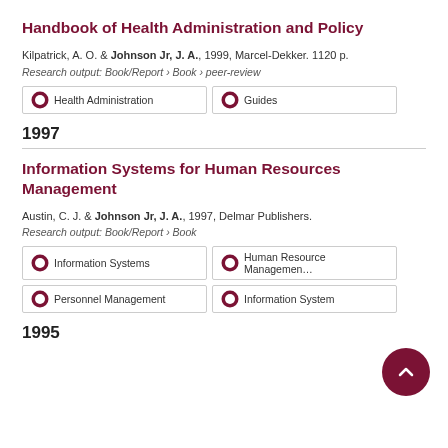Handbook of Health Administration and Policy
Kilpatrick, A. O. & Johnson Jr, J. A., 1999, Marcel-Dekker. 1120 p.
Research output: Book/Report › Book › peer-review
Health Administration
Guides
1997
Information Systems for Human Resources Management
Austin, C. J. & Johnson Jr, J. A., 1997, Delmar Publishers.
Research output: Book/Report › Book
Information Systems
Human Resource Management
Personnel Management
Information System
1995